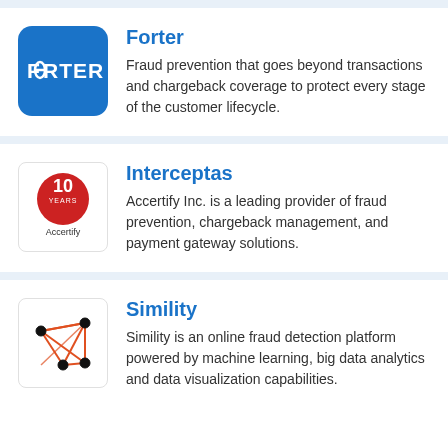[Figure (logo): Forter company logo - blue rounded square with white FORTER text]
Forter
Fraud prevention that goes beyond transactions and chargeback coverage to protect every stage of the customer lifecycle.
[Figure (logo): Accertify Interceptas logo - red circle with 10 YEARS text, Accertify name below]
Interceptas
Accertify Inc. is a leading provider of fraud prevention, chargeback management, and payment gateway solutions.
[Figure (logo): Simility logo - network graph icon with orange/red edges and black nodes]
Simility
Simility is an online fraud detection platform powered by machine learning, big data analytics and data visualization capabilities.